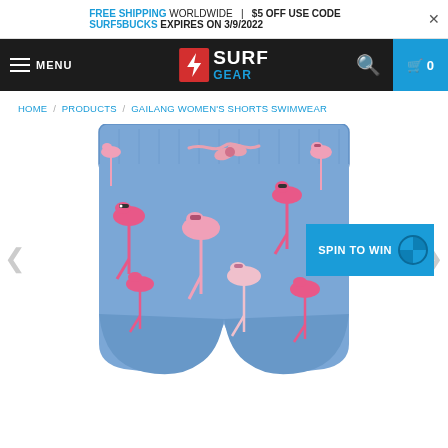FREE SHIPPING WORLDWIDE | $5 OFF USE CODE SURF5BUCKS EXPIRES ON 3/9/2022
[Figure (screenshot): Surf Gear e-commerce website navigation bar with logo, menu, search, and cart icons on dark background]
HOME / PRODUCTS / GAILANG WOMEN'S SHORTS SWIMWEAR
[Figure (photo): Blue swimwear shorts with pink flamingo pattern and drawstring waist, with a 'SPIN TO WIN' button overlay]